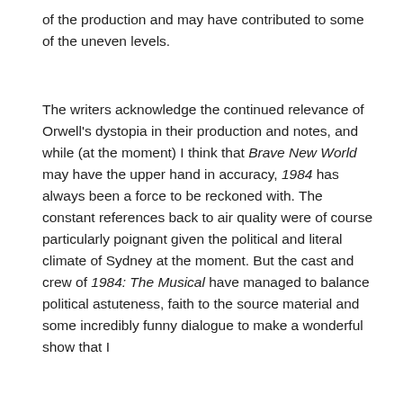of the production and may have contributed to some of the uneven levels.
The writers acknowledge the continued relevance of Orwell's dystopia in their production and notes, and while (at the moment) I think that Brave New World may have the upper hand in accuracy, 1984 has always been a force to be reckoned with. The constant references back to air quality were of course particularly poignant given the political and literal climate of Sydney at the moment. But the cast and crew of 1984: The Musical have managed to balance political astuteness, faith to the source material and some incredibly funny dialogue to make a wonderful show that I